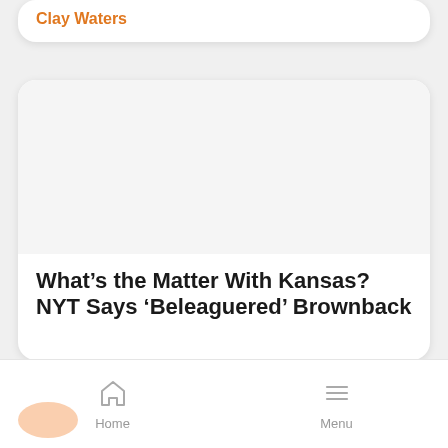Clay Waters
[Figure (other): Large blank white image placeholder area inside a rounded card]
What’s the Matter With Kansas? NYT Says ‘Beleaguered’ Brownback
Home   Menu